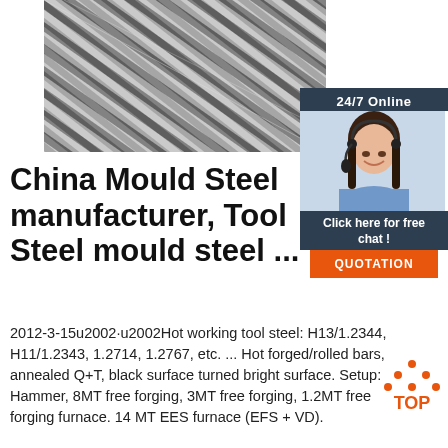[Figure (photo): Close-up photo of steel rods/bars showing metallic diagonal stripes pattern]
[Figure (other): 24/7 Online chat widget showing a woman with a headset, with 'Click here for free chat!' text and an orange QUOTATION button]
China Mould Steel manufacturer, Tool Steel mould steel ...
2012-3-15u2002·u2002Hot working tool steel: H13/1.2344, H11/1.2343, 1.2714, 1.2767, etc. ... Hot forged/rolled bars, annealed Q+T, black surface turned bright surface. Setup: Hammer, 8MT free forging, 3MT free forging, 1.2MT free forging furnace. 14 MT EES furnace (EFS + VD).